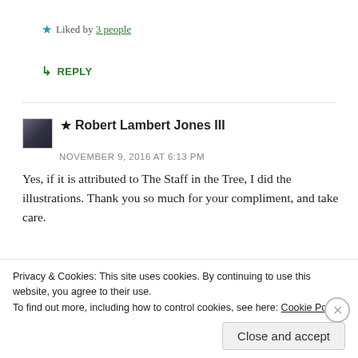★ Liked by 3 people
↳ REPLY
★ Robert Lambert Jones III
NOVEMBER 9, 2016 AT 6:13 PM
Yes, if it is attributed to The Staff in the Tree, I did the illustrations. Thank you so much for your compliment, and take care.
★ Liked by 3 people
Privacy & Cookies: This site uses cookies. By continuing to use this website, you agree to their use.
To find out more, including how to control cookies, see here: Cookie Policy